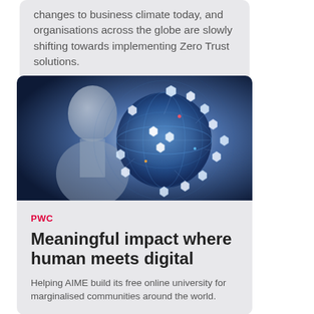and organisations across the globe are slowly shifting towards implementing Zero Trust solutions.
[Figure (illustration): A person's silhouette profile overlaid with a glowing digital globe surrounded by hexagonal icon clusters representing technology and connectivity, on a dark navy background.]
PWC
Meaningful impact where human meets digital
Helping AIME build its free online university for marginalised communities around the world.